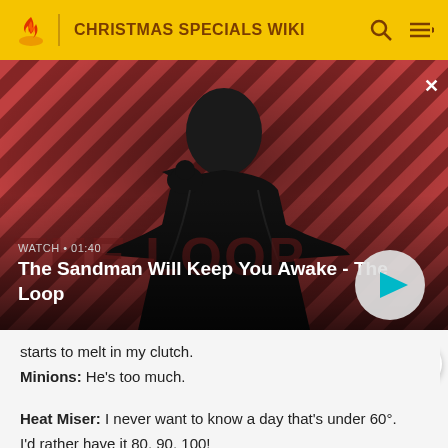CHRISTMAS SPECIALS WIKI
[Figure (screenshot): Video thumbnail showing a dark figure wearing a black cape with a raven on the shoulder, against a red and dark diagonal striped background. Overlay text reads WATCH 01:40 and title The Sandman Will Keep You Awake - The Loop. A circular play button is on the right.]
starts to melt in my clutch.
Minions: He's too much.
Heat Miser: I never want to know a day that's under 60°.
I'd rather have it 80, 90, 100!